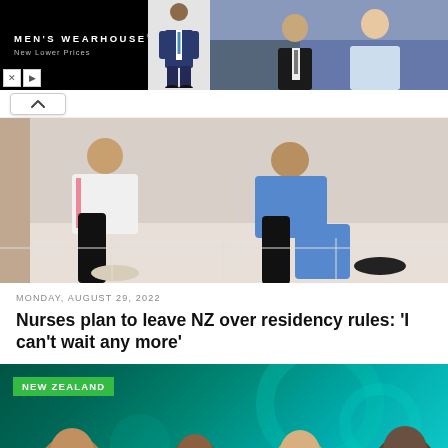[Figure (photo): Men's Wearhouse advertisement banner with black background on left with brand name and 'New Lower Prices', a man in blue suit in center, and couple in formal wear on right]
[Figure (photo): Hero image of healthcare workers/nurses sitting on the floor in medical scrubs]
MONDAY, AUGUST 29, 2022
Nurses plan to leave NZ over residency rules: 'I can't wait any more'
[Figure (photo): New Zealand promo banner with teal/green gradient background, 'NEW ZEALAND' tag in green, and four people's faces visible at bottom]